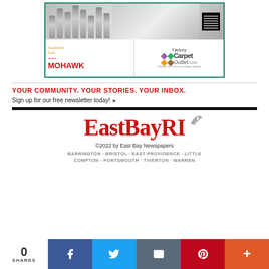[Figure (photo): Advertisement for Mohawk Summer Sale and Factory Carpet Outlet with carpet rolls, QR code, and logos]
YOUR COMMUNITY. YOUR STORIES. YOUR INBOX.
Sign up for our free newsletter today! ▶
[Figure (logo): EastBayRI logo with seagull graphic]
©2022 by East Bay Newspapers
BARRINGTON · BRISTOL · EAST PROVIDENCE · LITTLE COMPTON · PORTSMOUTH · TIVERTON · WARREN
0 SHARES